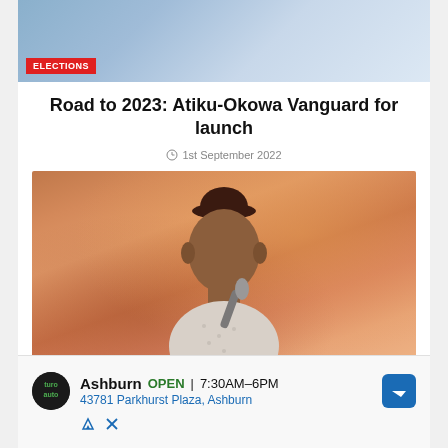[Figure (photo): Top photo showing people in traditional attire with an ELECTIONS badge overlay in the lower left]
Road to 2023: Atiku-Okowa Vanguard for launch
1st September 2022
[Figure (photo): Main photo of a man wearing a dark cap and white patterned shirt speaking into a microphone, against an orange/coral background]
Ashburn OPEN | 7:30AM–6PM 43781 Parkhurst Plaza, Ashburn